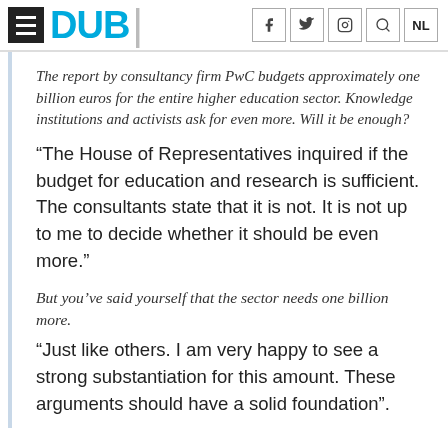DUB
The report by consultancy firm PwC budgets approximately one billion euros for the entire higher education sector. Knowledge institutions and activists ask for even more. Will it be enough?
“The House of Representatives inquired if the budget for education and research is sufficient. The consultants state that it is not. It is not up to me to decide whether it should be even more.”
But you’ve said yourself that the sector needs one billion more.
“Just like others. I am very happy to see a strong substantiation for this amount. These arguments should have a solid foundation”.